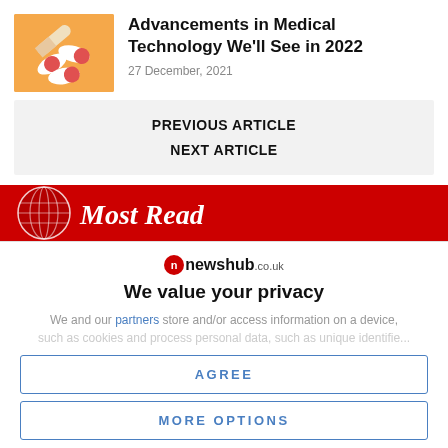[Figure (photo): Thumbnail photo of pills/capsules on an orange background]
Advancements in Medical Technology We'll See in 2022
27 December, 2021
PREVIOUS ARTICLE
NEXT ARTICLE
[Figure (infographic): Most Read section header banner with red background, globe icon, and italic white text 'Most Read']
newshub.co.uk
We value your privacy
We and our partners store and/or access information on a device, such as cookies and process personal data, such as unique identifiers
AGREE
MORE OPTIONS